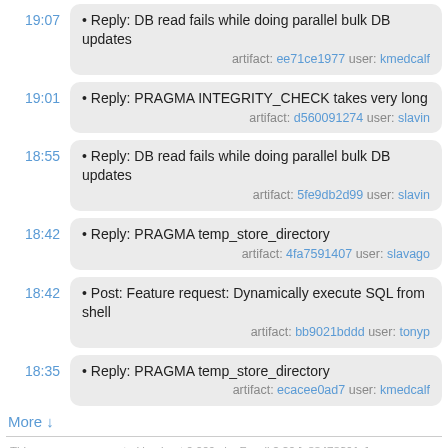19:07 • Reply: DB read fails while doing parallel bulk DB updates artifact: ee71ce1977 user: kmedcalf
19:01 • Reply: PRAGMA INTEGRITY_CHECK takes very long artifact: d560091274 user: slavin
18:55 • Reply: DB read fails while doing parallel bulk DB updates artifact: 5fe9db2d99 user: slavin
18:42 • Reply: PRAGMA temp_store_directory artifact: 4fa7591407 user: slavago
18:42 • Post: Feature request: Dynamically execute SQL from shell artifact: bb9021bddd user: tonyp
18:35 • Reply: PRAGMA temp_store_directory artifact: ecacee0ad7 user: kmedcalf
More ↓
This page was generated in about 0.009s by Fossil 2.20 [a88478391e] 2022-08-23 11:14:21